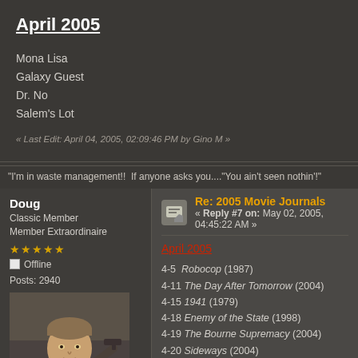April 2005
Mona Lisa
Galaxy Guest
Dr. No
Salem's Lot
« Last Edit: April 04, 2005, 02:09:46 PM by Gino M »
"I'm in waste management!!  If anyone asks you...."You ain't seen nothin'!"
Doug
Classic Member
Member Extraordinaire
Posts: 2940
[Figure (photo): Avatar photo of a man pointing a gun, resembling Clint Eastwood]
"May I make a suggestion..."
Re: 2005 Movie Journals
« Reply #7 on: May 02, 2005, 04:45:22 AM »
April 2005
4-5  Robocop (1987)
4-11 The Day After Tomorrow (2004)
4-15 1941 (1979)
4-18 Enemy of the State (1998)
4-19 The Bourne Supremacy (2004)
4-20 Sideways (2004)
4-23 The Woodsman (2004)
4-25 I Heart Huckabees (2004)